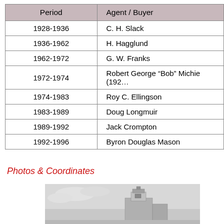| Period | Agent / Buyer |
| --- | --- |
| 1928-1936 | C. H. Slack |
| 1936-1962 | H. Hagglund |
| 1962-1972 | G. W. Franks |
| 1972-1974 | Robert George “Bob” Michie (192… |
| 1974-1983 | Roy C. Ellingson |
| 1983-1989 | Doug Longmuir |
| 1989-1992 | Jack Crompton |
| 1992-1996 | Byron Douglas Mason |
Photos & Coordinates
[Figure (photo): Black and white photo of a grain elevator building]